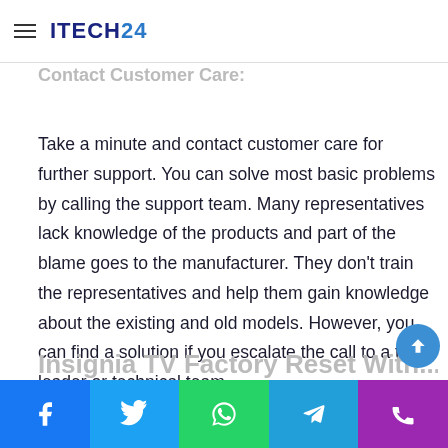ITECH24
Contact Customer Care:
Take a minute and contact customer care for further support. You can solve most basic problems by calling the support team. Many representatives lack knowledge of the products and part of the blame goes to the manufacturer. They don't train the representatives and help them gain knowledge about the existing and old models. However, you can find a solution if you escalate the call to a team leader or technical team.
Perform the basic troubleshooting before commencing the reset process. You can reset the Insignia Smart TVs using the remote control and without the remote control.
Insignia TV Factory Reset With...